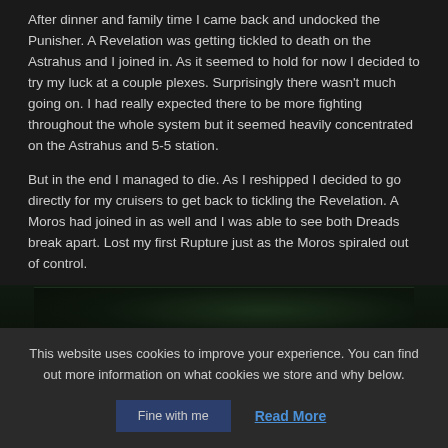After dinner and family time I came back and undocked the Punisher. A Revelation was getting tickled to death on the Astrahus and I joined in. As it seemed to hold for now I decided to try my luck at a couple plexes. Surprisingly there wasn't much going on. I had really expected there to be more fighting throughout the whole system but it seemed heavily concentrated on the Astrahus and 5-5 station.
But in the end I managed to die. As I reshipped I decided to go directly for my cruisers to get back to tickling the Revelation. A Moros had joined in as well and I was able to see both Dreads break apart. Lost my first Rupture just as the Moros spiraled out of control.
[Figure (screenshot): Dark game screenshot showing a space scene with dim green lighting]
This website uses cookies to improve your experience. You can find out more information on what cookies we store and why below.